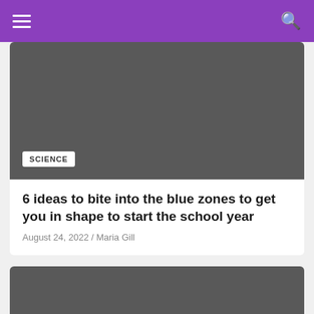[Figure (screenshot): Gray placeholder image block with a SCIENCE badge in the lower left corner]
6 ideas to bite into the blue zones to get you in shape to start the school year
August 24, 2022 / Maria Gill
[Figure (photo): Gray placeholder image block for a second article card, partially visible]